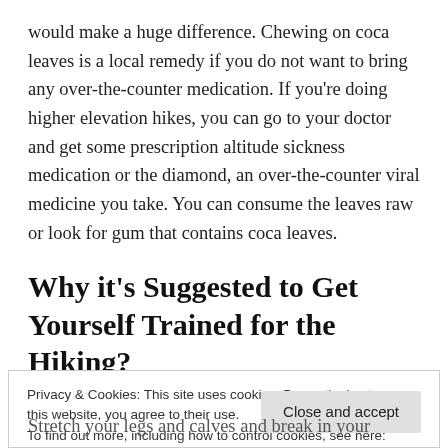would make a huge difference. Chewing on coca leaves is a local remedy if you do not want to bring any over-the-counter medication. If you're doing higher elevation hikes, you can go to your doctor and get some prescription altitude sickness medication or the diamond, an over-the-counter viral medicine you take. You can consume the leaves raw or look for gum that contains coca leaves.
Why it's Suggested to Get Yourself Trained for the Hiking?
Privacy & Cookies: This site uses cookies. By continuing to use this website, you agree to their use.
To find out more, including how to control cookies, see here: Cookie Policy
Stretch your legs and calves and break in your